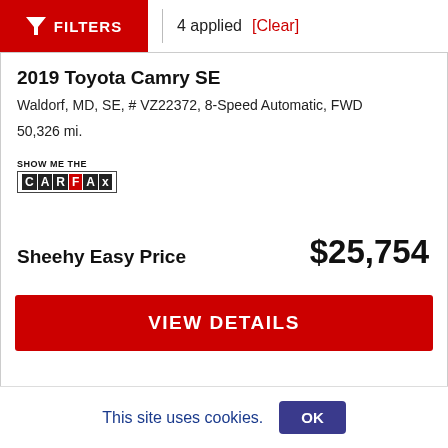FILTERS | 4 applied [Clear]
2019 Toyota Camry SE
Waldorf, MD, SE, # VZ22372, 8-Speed Automatic, FWD
50,326 mi.
[Figure (logo): SHOW ME THE CARFAX logo]
Sheehy Easy Price   $25,754
VIEW DETAILS
[Figure (other): Chat bubble icon with ellipsis (...)]
This site uses cookies.
OK